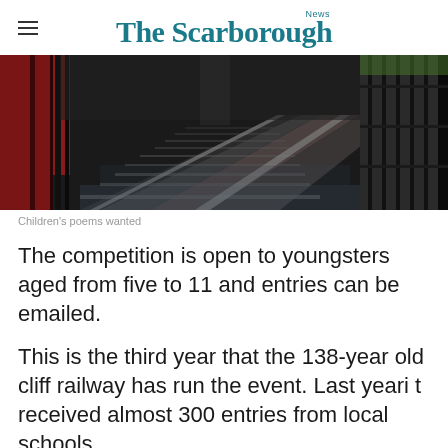The Scarborough News
[Figure (photo): Close-up photograph of cliff railway tracks viewed from an angle, showing metal rails, sleepers, and wet surfaces. A red carriage is visible on the left, and there are metal railings on the right side.]
Children's poems wanted
The competition is open to youngsters aged from five to 11 and entries can be emailed.
This is the third year that the 138-year old cliff railway has run the event. Last yeari t received almost 300 entries from local schools.